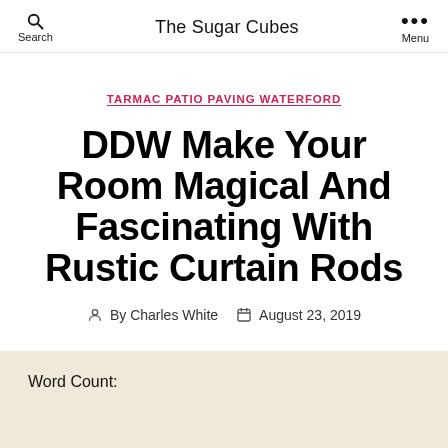The Sugar Cubes
TARMAC PATIO PAVING WATERFORD
DDW Make Your Room Magical And Fascinating With Rustic Curtain Rods
By Charles White  August 23, 2019
Word Count: